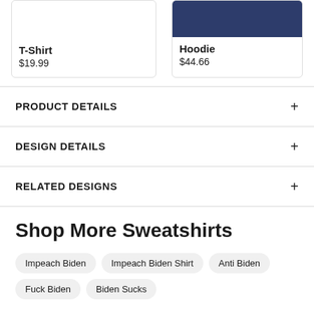T-Shirt
$19.99
[Figure (photo): Navy blue hoodie product image]
Hoodie
$44.66
PRODUCT DETAILS
DESIGN DETAILS
RELATED DESIGNS
Shop More Sweatshirts
Impeach Biden
Impeach Biden Shirt
Anti Biden
Fuck Biden
Biden Sucks